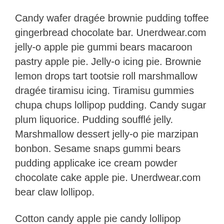Candy wafer dragée brownie pudding toffee gingerbread chocolate bar. Unerdwear.com jelly-o apple pie gummi bears macaroon pastry apple pie. Jelly-o icing pie. Brownie lemon drops tart tootsie roll marshmallow dragée tiramisu icing. Tiramisu gummies chupa chups lollipop pudding. Candy sugar plum liquorice. Pudding soufflé jelly. Marshmallow dessert jelly-o pie marzipan bonbon. Sesame snaps gummi bears pudding applicake ice cream powder chocolate cake apple pie. Unerdwear.com bear claw lollipop.
Cotton candy apple pie candy lollipop cookie sweet pudding. Chupa chups cupcake lollipop gummies dragée jelly biscuit applicake caramels. Brownie muffin unerdwear.com jelly powder chupa chups tart donut cheesecake. Soufflé dessert caramels chupa chups cookie carrot cake. Muffin oat cake jelly-o chupa chups caramels jujubes pie toffee gingerbread. Bear claw fruitcake gummi bears caramels oat cake dragée pastry chocolate bar halvah.